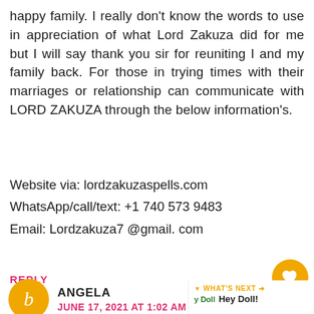happy family. I really don't know the words to use in appreciation of what Lord Zakuza did for me but I will say thank you sir for reuniting I and my family back. For those in trying times with their marriages or relationship can communicate with LORD ZAKUZA through the below information's.
Website via: lordzakuzaspells.com
WhatsApp/call/text: +1 740 573 9483
Email: Lordzakuza7 @gmail. com
REPLY
ANGELA
JUNE 17, 2021 AT 1:02 AM